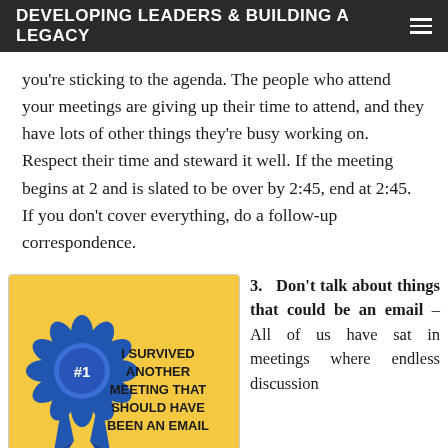DEVELOPING LEADERS & BUILDING A LEGACY
you're sticking to the agenda. The people who attend your meetings are giving up their time to attend, and they have lots of other things they're busy working on. Respect their time and steward it well. If the meeting begins at 2 and is slated to be over by 2:45, end at 2:45. If you don't cover everything, do a follow-up correspondence.
[Figure (illustration): A blue ribbon award badge on a golden/yellow background card with text reading 'I SURVIVED ANOTHER MEETING THAT SHOULD HAVE BEEN AN EMAIL', with '#1' on the ribbon center.]
3. Don't talk about things that could be an email – All of us have sat in meetings where endless discussion